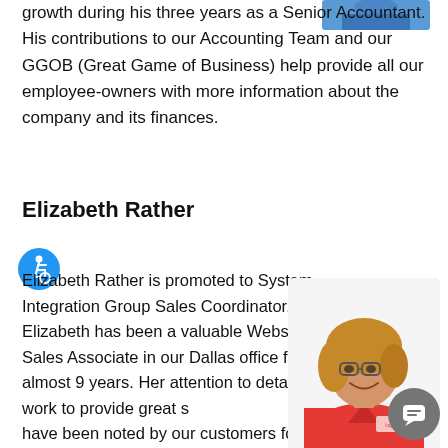growth during his three years as a Senior Accountant. His contributions to our Accounting Team and our GGOB (Great Game of Business) help provide all our employee-owners with more information about the company and its finances.
[Figure (photo): Partial photo of a person in blue shirt with arms crossed at top right]
Elizabeth Rather
[Figure (illustration): Blue circular accessibility icon with wheelchair user symbol]
Elizabeth Rather is promoted to System Integration Group Sales Coordinator. Elizabeth has been a valuable Website Sales Associate in our Dallas office for almost 9 years. Her attention to detail and work to provide great s have been noted by our customers for many years.
[Figure (photo): Photo of Elizabeth Rather, a woman with glasses and blonde hair wearing a red polo shirt]